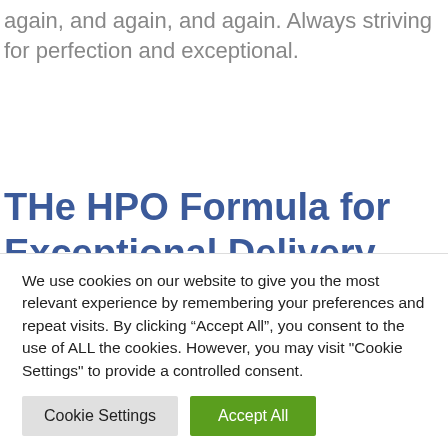again, and again, and again. Always striving for perfection and exceptional.
THe HPO Formula for Exceptional Delivery
When considering if it task requires exceptional delivery or not.  A very simple formula will assist you with this,
We use cookies on our website to give you the most relevant experience by remembering your preferences and repeat visits. By clicking "Accept All", you consent to the use of ALL the cookies. However, you may visit "Cookie Settings" to provide a controlled consent.